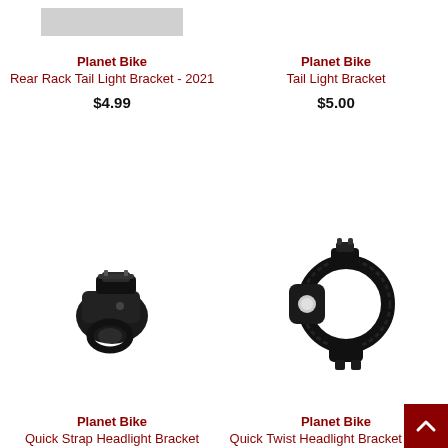[Figure (photo): Gray bar placeholder image for Planet Bike Rear Rack Tail Light Bracket product]
Planet Bike
Rear Rack Tail Light Bracket - 2021
$4.99
[Figure (photo): Placeholder image area for Planet Bike Tail Light Bracket product]
Planet Bike
Tail Light Bracket
$5.00
[Figure (photo): Black plastic quick strap headlight bracket for bicycle, small clamp-style bracket]
Planet Bike
Quick Strap Headlight Bracket
[Figure (photo): Black plastic quick twist headlight bracket for bicycle, large ring clamp with twist mechanism and white button]
Planet Bike
Quick Twist Headlight Bracket - 2021